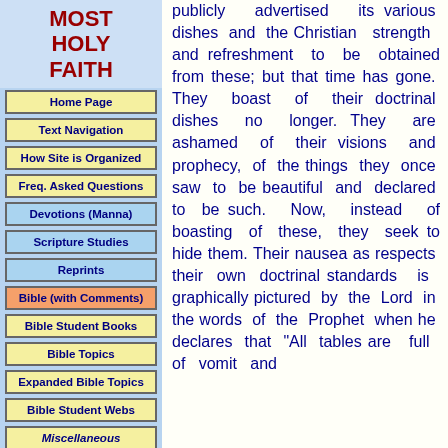MOST HOLY FAITH
Home Page
Text Navigation
How Site is Organized
Freq. Asked Questions
Devotions (Manna)
Scripture Studies
Reprints
Bible (with Comments)
Bible Student Books
Bible Topics
Expanded Bible Topics
Bible Student Webs
Miscellaneous
publicly advertised its various dishes and the Christian strength and refreshment to be obtained from these; but that time has gone. They boast of their doctrinal dishes no longer. They are ashamed of their visions and prophecy, of the things they once saw to be beautiful and declared to be such. Now, instead of boasting of these, they seek to hide them. Their nausea as respects their own doctrinal standards is graphically pictured by the Lord in the words of the Prophet when he declares that "All tables are full of vomit and